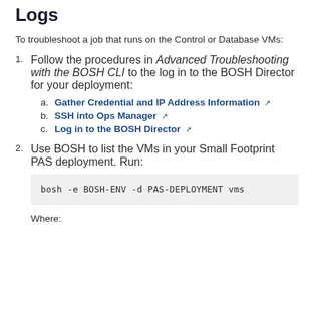Logs
To troubleshoot a job that runs on the Control or Database VMs:
Follow the procedures in Advanced Troubleshooting with the BOSH CLI to the log in to the BOSH Director for your deployment:
a. Gather Credential and IP Address Information
b. SSH into Ops Manager
c. Log in to the BOSH Director
Use BOSH to list the VMs in your Small Footprint PAS deployment. Run:
bosh -e BOSH-ENV -d PAS-DEPLOYMENT vms
Where: